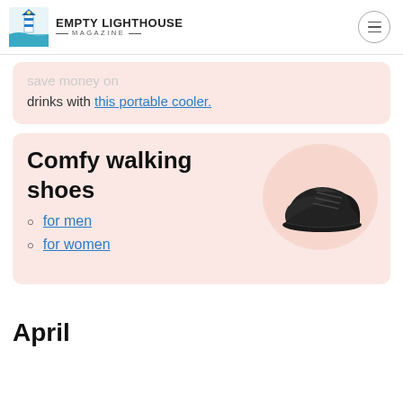Empty Lighthouse Magazine
save money on drinks with this portable cooler.
Comfy walking shoes
for men
for women
[Figure (photo): Black athletic/walking shoe on pink circular background]
April